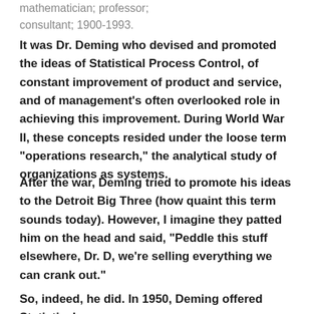mathematician; professor; consultant; 1900-1993.
It was Dr. Deming who devised and promoted the ideas of Statistical Process Control, of constant improvement of product and service, and of management’s often overlooked role in achieving this improvement. During World War II, these concepts resided under the loose term “operations research,” the analytical study of organizations as systems.
After the war, Deming tried to promote his ideas to the Detroit Big Three (how quaint this term sounds today). However, I imagine they patted him on the head and said, “Peddle this stuff elsewhere, Dr. D, we’re selling everything we can crank out.”
So, indeed, he did. In 1950, Deming offered Statistical